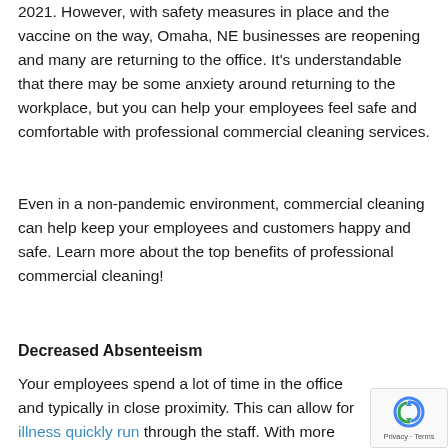2021. However, with safety measures in place and the vaccine on the way, Omaha, NE businesses are reopening and many are returning to the office. It's understandable that there may be some anxiety around returning to the workplace, but you can help your employees feel safe and comfortable with professional commercial cleaning services.
Even in a non-pandemic environment, commercial cleaning can help keep your employees and customers happy and safe. Learn more about the top benefits of professional commercial cleaning!
Decreased Absenteeism
Your employees spend a lot of time in the office and typically in close proximity. This can allow for illness quickly run through the staff. With more team members out